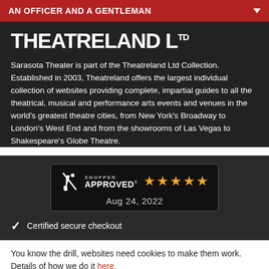AN OFFICER AND A GENTLEMAN
THEATRELAND LTD
Sarasota Theater is part of the Theatreland Ltd Collection. Established in 2003, Theatreland offers the largest individual collection of websites providing complete, impartial guides to all the theatrical, musical and performance arts events and venues in the world's greatest theatre cities, from New York's Broadway to London's West End and from the showrooms of Las Vegas to Shakespeare's Globe Theatre.
[Figure (logo): Shopper Approved badge with 4.5 stars and date Aug 24, 2022]
Certified secure checkout
You know the drill, websites need cookies to make them work. Details of how we do it here.
Got it!